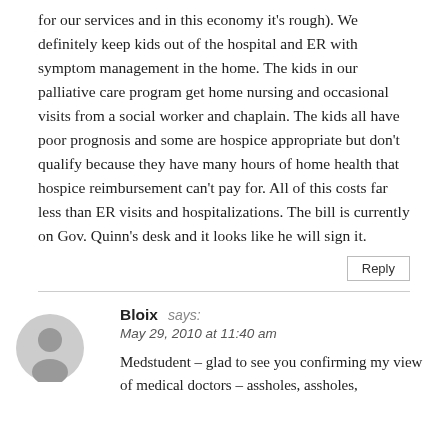for our services and in this economy it's rough). We definitely keep kids out of the hospital and ER with symptom management in the home. The kids in our palliative care program get home nursing and occasional visits from a social worker and chaplain. The kids all have poor prognosis and some are hospice appropriate but don't qualify because they have many hours of home health that hospice reimbursement can't pay for. All of this costs far less than ER visits and hospitalizations. The bill is currently on Gov. Quinn's desk and it looks like he will sign it.
Reply
Bloix says:
May 29, 2010 at 11:40 am
Medstudent – glad to see you confirming my view of medical doctors – assholes, assholes,